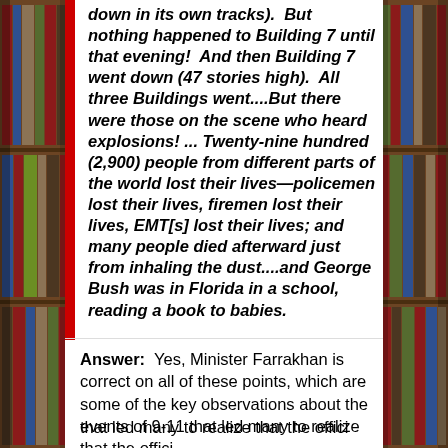down in its own tracks). But nothing happened to Building 7 until that evening! And then Building 7 went down (47 stories high). All three Buildings went....But there were those on the scene who heard explosions! ... Twenty-nine hundred (2,900) people from different parts of the world lost their lives—policemen lost their lives, firemen lost their lives, EMT[s] lost their lives; and many people died afterward just from inhaling the dust....and George Bush was in Florida in a school, reading a book to babies.
Answer: Yes, Minister Farrakhan is correct on all of these points, which are some of the key observations about the events of 9-11 that led many to realize that the official...